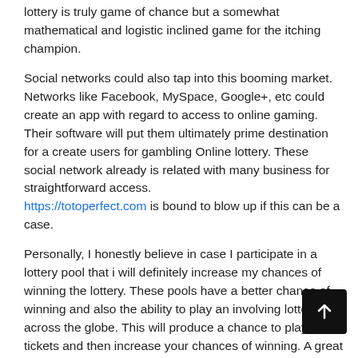lottery is truly game of chance but a somewhat mathematical and logistic inclined game for the itching champion.
Social networks could also tap into this booming market. Networks like Facebook, MySpace, Google+, etc could create an app with regard to access to online gaming. Their software will put them ultimately prime destination for a create users for gambling Online lottery. These social network already is related with many business for straightforward access. https://totoperfect.com is bound to blow up if this can be a case.
Personally, I honestly believe in case I participate in a lottery pool that i will definitely increase my chances of winning the lottery. These pools have a better chance of winning and also the ability to play an involving lotteries across the globe. This will produce a chance to play more tickets and then increase your chances of winning. A great individual, by my joining a lottery pool, I will give myself the best advantage and the best possibility of becoming a